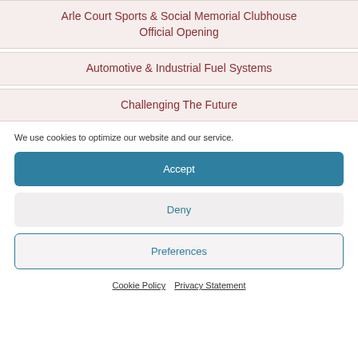Arle Court Sports & Social Memorial Clubhouse Official Opening
Automotive & Industrial Fuel Systems
Challenging The Future
We use cookies to optimize our website and our service.
Accept
Deny
Preferences
Cookie Policy  Privacy Statement